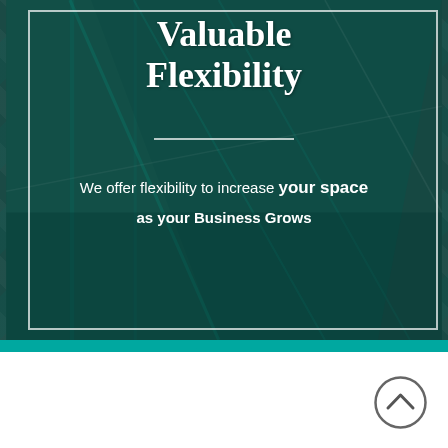[Figure (photo): Dark teal architectural interior background with geometric diagonal lines and a white-bordered card overlay]
Valuable Flexibility
We offer flexibility to increase your space as your Business Grows
[Figure (illustration): Teal horizontal stripe with downward pointing chevron arrow below it]
[Figure (illustration): Circular up-chevron navigation button on white background]